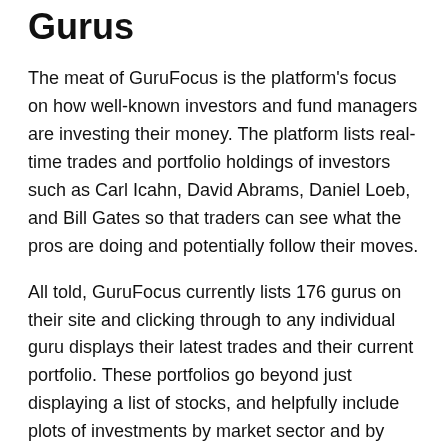Gurus
The meat of GuruFocus is the platform's focus on how well-known investors and fund managers are investing their money. The platform lists real-time trades and portfolio holdings of investors such as Carl Icahn, David Abrams, Daniel Loeb, and Bill Gates so that traders can see what the pros are doing and potentially follow their moves.
All told, GuruFocus currently lists 176 gurus on their site and clicking through to any individual guru displays their latest trades and their current portfolio. These portfolios go beyond just displaying a list of stocks, and helpfully include plots of investments by market sector and by market cap over time.